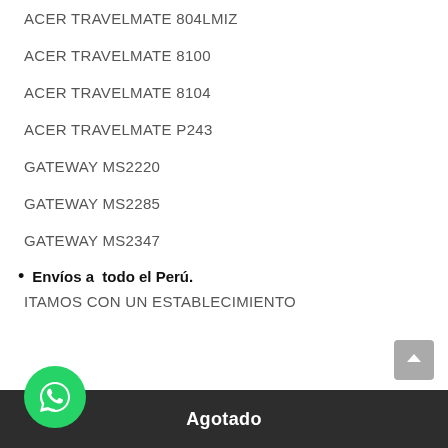ACER TRAVELMATE 804LMIZ
ACER TRAVELMATE 8100
ACER TRAVELMATE 8104
ACER TRAVELMATE P243
GATEWAY MS2220
GATEWAY MS2285
GATEWAY MS2347
Envíos a  todo el Perú.
ITAMOS CON UN ESTABLECIMIENTO
Agotado